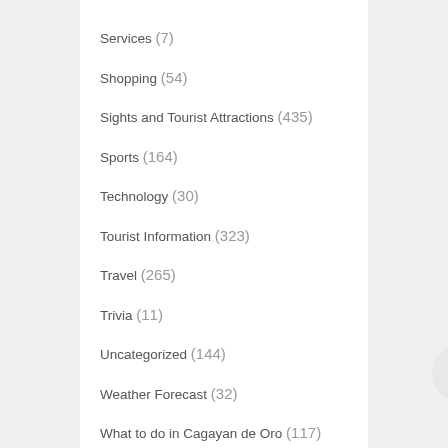Services (7)
Shopping (54)
Sights and Tourist Attractions (435)
Sports (164)
Technology (30)
Tourist Information (323)
Travel (265)
Trivia (11)
Uncategorized (144)
Weather Forecast (32)
What to do in Cagayan de Oro (117)